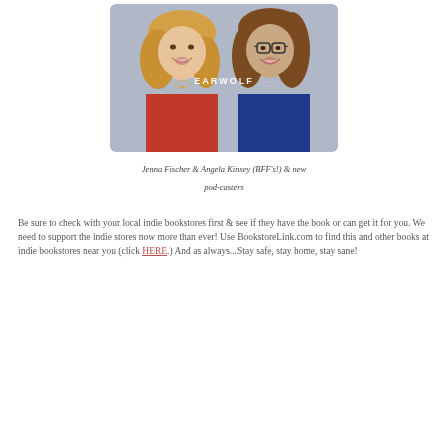[Figure (photo): Photo of two women smiling — Jenna Fischer (blonde, red top) on left and Angela Kinsey (brunette with glasses, blue top) on right. 'EARWOLF' watermark text overlaid on the image.]
Jenna Fischer & Angela Kinsey (BFF's!) & new pod-casters
Be sure to check with your local indie bookstores first & see if they have the book or can get it for you. We need to support the indie stores now more than ever! Use BookstoreLink.com to find this and other books at indie bookstores near you (click HERE.) And as always...Stay safe, stay home, stay sane!